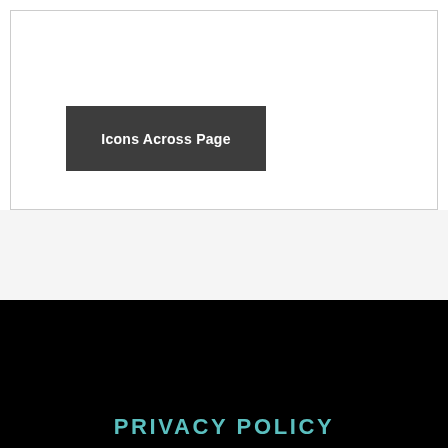Icons Across Page
PRIVACY POLICY